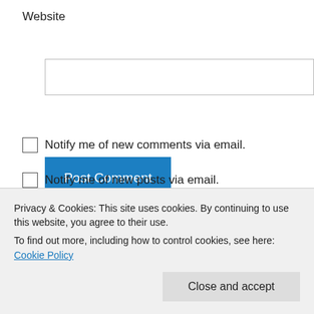Website
[Figure (screenshot): Empty text input field for website URL]
Post Comment
Notify me of new comments via email.
Notify me of new posts via email.
[Figure (screenshot): Partially visible avatar and blue link text partially cut off by cookie banner]
Privacy & Cookies: This site uses cookies. By continuing to use this website, you agree to their use.
To find out more, including how to control cookies, see here: Cookie Policy
Close and accept
Like